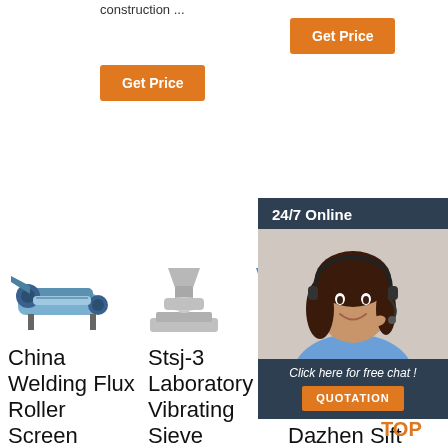construction ...
[Figure (other): Orange 'Get Price' button (left)]
[Figure (other): Orange 'Get Price' button (right)]
[Figure (other): 24/7 Online chat overlay with woman headset photo and QUOTATION button]
[Figure (photo): China Welding Flux Roller Screen Vibrating Screen machine photo]
China Welding Flux Roller Screen Vibrating Screen ...
[Figure (photo): Stsj-3 Laboratory Vibrating Sieve Shaker machine photo]
Stsj-3 Laboratory Vibrating Sieve Shaker - China Sieve ...
[Figure (photo): Lab test with sieve shaker product photo]
Lab test with sieve shaker - Dazhen Sift Machine